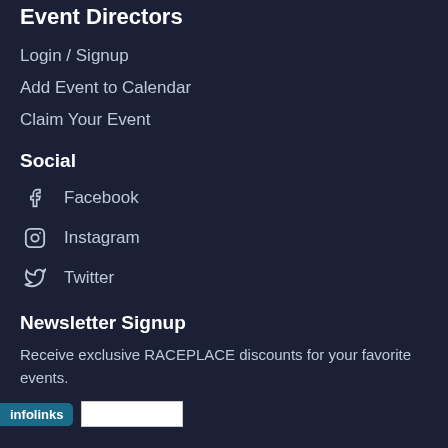Event Directors
Login / Signup
Add Event to Calendar
Claim Your Event
Social
Facebook
Instagram
Twitter
Newsletter Signup
Receive exclusive RACEPLACE discounts for your favorite events.
[Figure (screenshot): infolinks bar and partial input field]
[Figure (screenshot): Tally app advertisement with Download Now button and close/help icons]